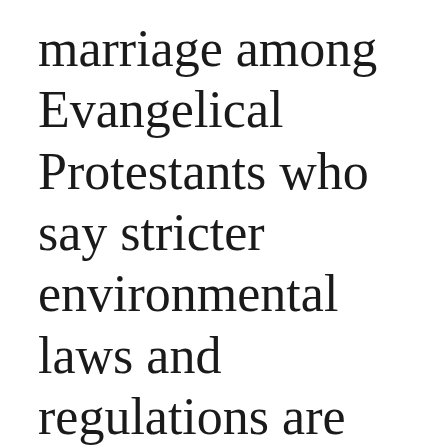marriage among Evangelical Protestants who say stricter environmental laws and regulations are worth the cost by religious group